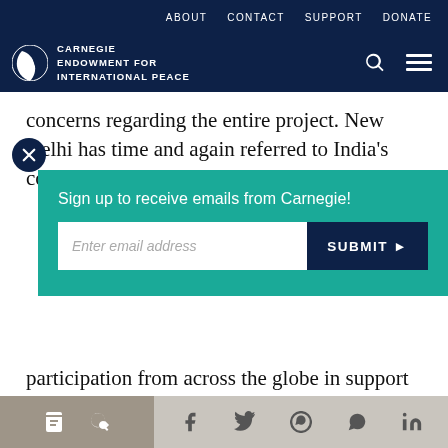ABOUT  CONTACT  SUPPORT  DONATE
[Figure (logo): Carnegie Endowment for International Peace logo with navigation icons]
concerns regarding the entire project. New Delhi has time and again referred to India's commitment to
[Figure (screenshot): Email signup popup overlay with teal background: 'Sign up to receive emails from Carnegie!' with email input field and SUBMIT button]
participation from across the globe in support of its ambitious projects and negating any negative
Share bar with print, link, Facebook, Twitter, WhatsApp, Messenger, LinkedIn icons